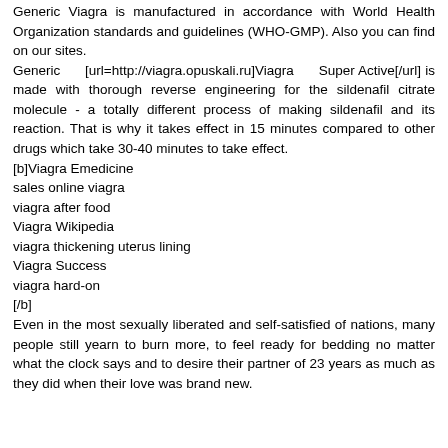Generic Viagra is manufactured in accordance with World Health Organization standards and guidelines (WHO-GMP). Also you can find on our sites.
Generic [url=http://viagra.opuskali.ru]Viagra Super Active[/url] is made with thorough reverse engineering for the sildenafil citrate molecule - a totally different process of making sildenafil and its reaction. That is why it takes effect in 15 minutes compared to other drugs which take 30-40 minutes to take effect.
[b]Viagra Emedicine
sales online viagra
viagra after food
Viagra Wikipedia
viagra thickening uterus lining
Viagra Success
viagra hard-on
[/b]
Even in the most sexually liberated and self-satisfied of nations, many people still yearn to burn more, to feel ready for bedding no matter what the clock says and to desire their partner of 23 years as much as they did when their love was brand new.